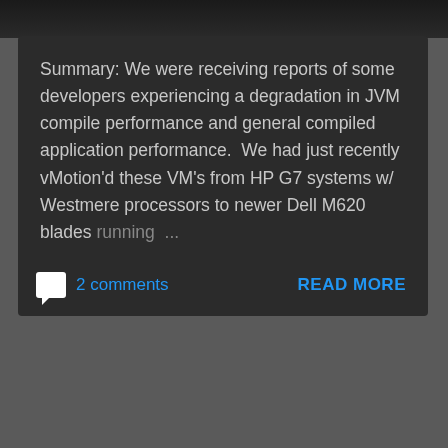[Figure (screenshot): Dark top bar / header image strip, partially visible]
Summary: We were receiving reports of some developers experiencing a degradation in JVM compile performance and general compiled application performance.  We had just recently vMotion'd these VM's from HP G7 systems w/ Westmere processors to newer Dell M620 blades running ...
2 comments
READ MORE